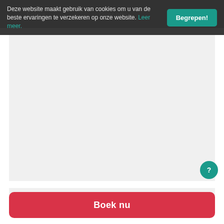Foto's   Over ons   Menu
Deze website maakt gebruik van cookies om u van de beste ervaringen te verzekeren op onze website. Leer meer. Begrepen!
[Figure (other): Large light grey placeholder image area]
Boek nu